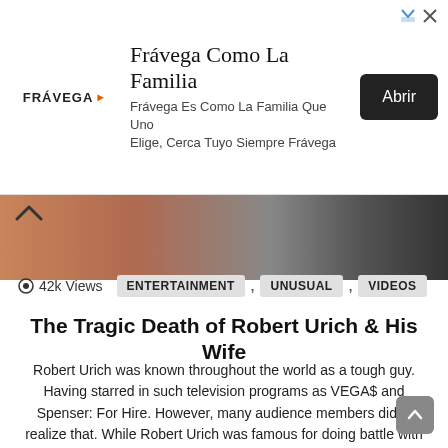[Figure (screenshot): Frávega Como La Familia advertisement banner with logo, tagline text, and Abrir button]
[Figure (photo): Partial image strip showing people, colorful background]
42k Views   ENTERTAINMENT , UNUSUAL , VIDEOS
The Tragic Death of Robert Urich & His Wife
Robert Urich was known throughout the world as a tough guy. Having starred in such television programs as VEGA$ and Spenser: For Hire. However, many audience members didn't realize that. While Robert Urich was famous for doing battle with tough foes on the screen. He would end up having to fight an even tougher battle [...] MORE
about a year ago